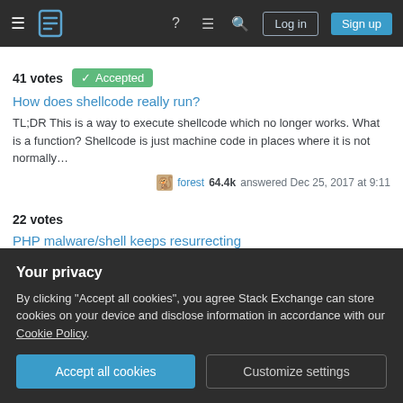Stack Exchange navigation bar with hamburger menu, logo, help, chat, search icons, Log in and Sign up buttons
41 votes  ✓ Accepted
How does shellcode really run?
TL;DR This is a way to execute shellcode which no longer works. What is a function? Shellcode is just machine code in places where it is not normally…
forest 64.4k answered Dec 25, 2017 at 9:11
22 votes
PHP malware/shell keeps resurrecting
I would enable auditd to monitor changes to the files you expect to be backdoored. You will be able to determine which account and process that is…
Your privacy
By clicking "Accept all cookies", you agree Stack Exchange can store cookies on your device and disclose information in accordance with our Cookie Policy.
Accept all cookies   Customize settings